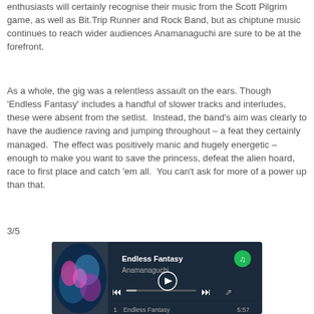enthusiasts will certainly recognise their music from the Scott Pilgrim game, as well as Bit.Trip Runner and Rock Band, but as chiptune music continues to reach wider audiences Anamanaguchi are sure to be at the forefront.
As a whole, the gig was a relentless assault on the ears. Though 'Endless Fantasy' includes a handful of slower tracks and interludes, these were absent from the setlist.  Instead, the band's aim was clearly to have the audience raving and jumping throughout – a feat they certainly managed.  The effect was positively manic and hugely energetic – enough to make you want to save the princess, defeat the alien hoard, race to first place and catch 'em all.  You can't ask for more of a power up than that.
3/5
[Figure (screenshot): Spotify player widget showing 'Endless Fantasy' by Anamanaguchi with playback controls, progress bar, and track listing showing '1  Endless Fantasy  5:57']